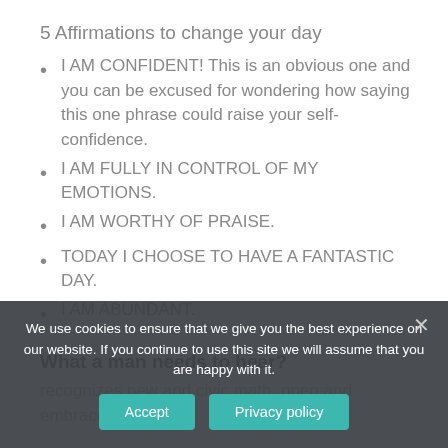5 Affirmations to change your day
I AM CONFIDENT! This is an obvious one and you can be excused for wondering how saying this one phrase could raise your self-confidence.
I AM FULLY IN CONTROL OF MY EMOTIONS.
I AM WORTHY OF PRAISE.
TODAY I CHOOSE TO HAVE A FANTASTIC DAY.
I AM ABUNDANT.
What a man needs to hear?
recognizes new and civic math, open and embraces th...
We use cookies to ensure that we give you the best experience on our website. If you continue to use this site we will assume that you are happy with it.